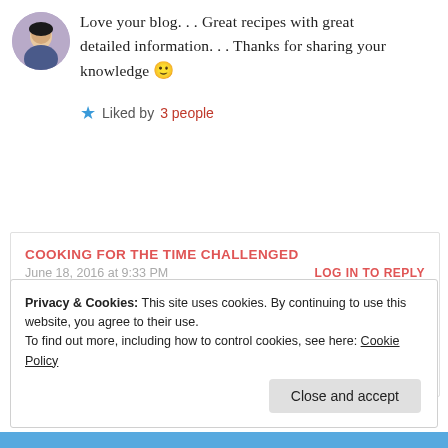Love your blog. . . Great recipes with great detailed information. . . Thanks for sharing your knowledge 🙂
★ Liked by 3 people
COOKING FOR THE TIME CHALLENGED
June 18, 2016 at 9:33 PM
LOG IN TO REPLY
Thank you for visiting!❤️
★ Like
Privacy & Cookies: This site uses cookies. By continuing to use this website, you agree to their use. To find out more, including how to control cookies, see here: Cookie Policy
Close and accept